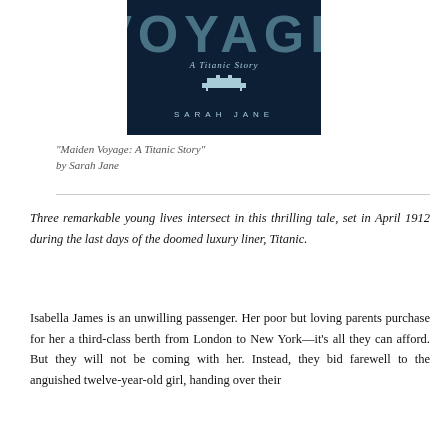[Figure (illustration): Book cover for 'Maiden Voyage: A Titanic Story' by Sarah Jane. Dark navy background with large light blue stylized text 'VOYAGE' at top, subtitle 'A Titanic Story' in italic, a small ship silhouette icon, and author name 'SARAH JANE' in spaced capitals.]
"Maiden Voyage: A Titanic Story"
by Sarah Jane
Three remarkable young lives intersect in this thrilling tale, set in April 1912 during the last days of the doomed luxury liner, Titanic.
Isabella James is an unwilling passenger. Her poor but loving parents purchase for her a third-class berth from London to New York—it's all they can afford. But they will not be coming with her. Instead, they bid farewell to the anguished twelve-year-old girl, handing over their